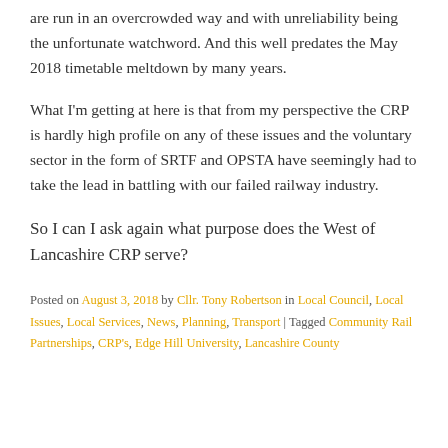are run in an overcrowded way and with unreliability being the unfortunate watchword. And this well predates the May 2018 timetable meltdown by many years.
What I'm getting at here is that from my perspective the CRP is hardly high profile on any of these issues and the voluntary sector in the form of SRTF and OPSTA have seemingly had to take the lead in battling with our failed railway industry.
So I can I ask again what purpose does the West of Lancashire CRP serve?
Posted on August 3, 2018 by Cllr. Tony Robertson in Local Council, Local Issues, Local Services, News, Planning, Transport | Tagged Community Rail Partnerships, CRP's, Edge Hill University, Lancashire County